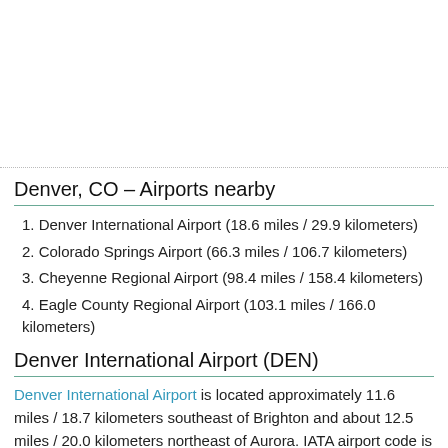Denver, CO – Airports nearby
1. Denver International Airport (18.6 miles / 29.9 kilometers)
2. Colorado Springs Airport (66.3 miles / 106.7 kilometers)
3. Cheyenne Regional Airport (98.4 miles / 158.4 kilometers)
4. Eagle County Regional Airport (103.1 miles / 166.0 kilometers)
Denver International Airport (DEN)
Denver International Airport is located approximately 11.6 miles / 18.7 kilometers southeast of Brighton and about 12.5 miles / 20.0 kilometers northeast of Aurora. IATA airport code is DEN.